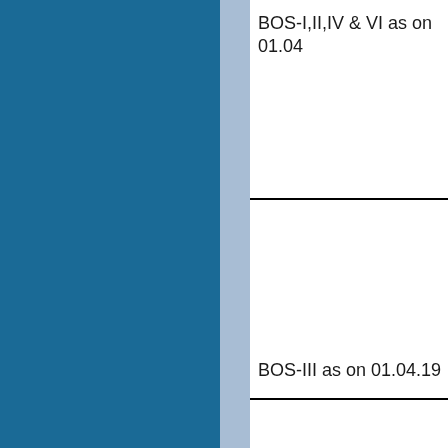[Figure (other): Dark blue rectangular block covering the left portion of the page, with a lighter blue vertical strip on its right edge]
BOS-I,II,IV & VI as on 01.04
BOS-III as on 01.04.19